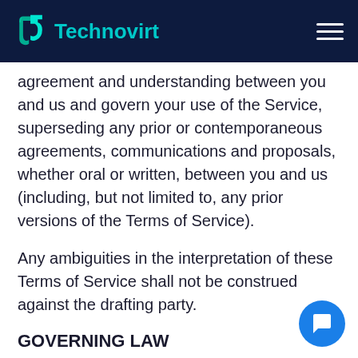Technovirt
agreement and understanding between you and us and govern your use of the Service, superseding any prior or contemporaneous agreements, communications and proposals, whether oral or written, between you and us (including, but not limited to, any prior versions of the Terms of Service).
Any ambiguities in the interpretation of these Terms of Service shall not be construed against the drafting party.
GOVERNING LAW
These Terms of Service and any separate